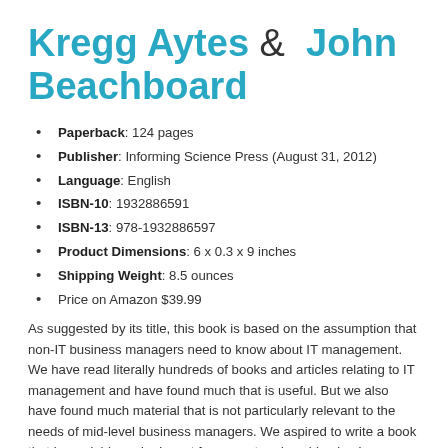Kregg Aytes & John Beachboard
Paperback: 124 pages
Publisher: Informing Science Press (August 31, 2012)
Language: English
ISBN-10: 1932886591
ISBN-13: 978-1932886597
Product Dimensions: 6 x 0.3 x 9 inches
Shipping Weight: 8.5 ounces
Price on Amazon $39.99
As suggested by its title, this book is based on the assumption that non-IT business managers need to know about IT management. We have read literally hundreds of books and articles relating to IT management and have found much that is useful. But we also have found much material that is not particularly relevant to the needs of mid-level business managers. We aspired to write a book that is readable and relevant for current and aspiring business managers. Not surprisingly, most IT management publications are written for IT managers. Those publications written for (non-IT) business readers are often written as if they were to be read primarily by C-level executives. Their content, while